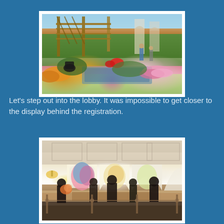[Figure (photo): Indoor botanical garden display with wooden pergola/trellis structure, colorful flowers (yellow, orange, pink chrysanthemums), decorative butterfly sculpture, water feature/pond, and lush green plants with visitors in the background under a glass ceiling.]
Let's step out into the lobby. It was impossible to get closer to the display behind the registration.
[Figure (photo): Hotel lobby interior with white coffered ceiling, arched windows revealing a colorful floral display behind, hotel registration desk area with people standing in line behind stanchions. Warm golden/cream interior with decorative chandeliers.]